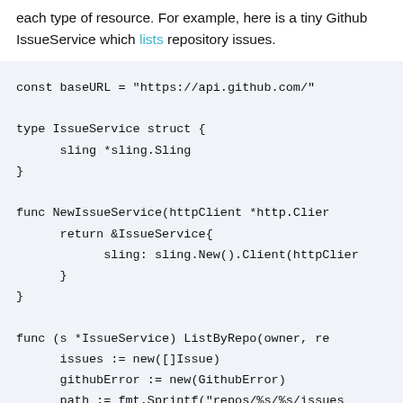each type of resource. For example, here is a tiny Github IssueService which lists repository issues.
[Figure (screenshot): Code block on light blue-gray background showing Go code: const baseURL, type IssueService struct, func NewIssueService, func (s *IssueService) ListByRepo]